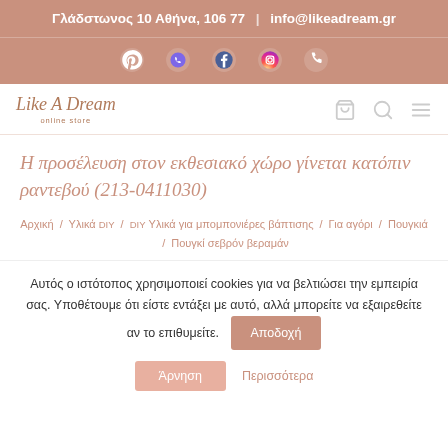Γλάδστωνος 10 Αθήνα, 106 77 | info@likeadream.gr
[Figure (other): Social media icon bar with Pinterest, Viber, Facebook, Instagram, and phone icons on dusty rose background]
[Figure (logo): Like A Dream online store logo in italic script]
Η προσέλευση στον εκθεσιακό χώρο γίνεται κατόπιν ραντεβού (213-0411030)
Αρχική / Υλικά DIY / DIY Υλικά για μπομπονιέρες βάπτισης / Για αγόρι / Πουγκιά / Πουγκί σεβρόν βεραμάν
Αυτός ο ιστότοπος χρησιμοποιεί cookies για να βελτιώσει την εμπειρία σας. Υποθέτουμε ότι είστε εντάξει με αυτό, αλλά μπορείτε να εξαιρεθείτε αν το επιθυμείτε.
Αποδοχή | Άρνηση | Περισσότερα